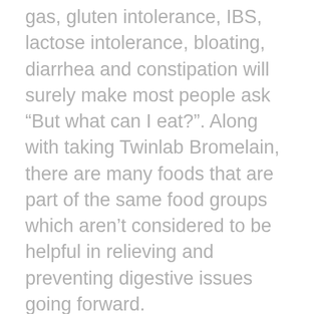gas, gluten intolerance, IBS, lactose intolerance, bloating, diarrhea and constipation will surely make most people ask “But what can I eat?”. Along with taking Twinlab Bromelain, there are many foods that are part of the same food groups which aren’t considered to be helpful in relieving and preventing digestive issues going forward.
These are most of the foods you can eat that will help treat digestive issues along with prevent it in future as well: vegetables like artichokes, zucchini, asparagus, avocado, tomatoes, spinach, broccoli, brussels